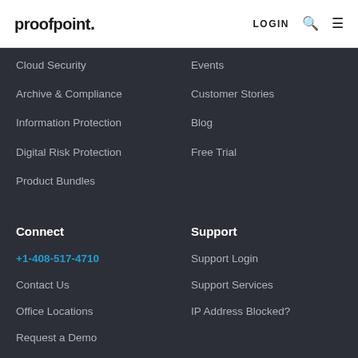proofpoint. LOGIN
Cloud Security
Events
Archive & Compliance
Customer Stories
Information Protection
Blog
Digital Risk Protection
Free Trial
Product Bundles
Connect
Support
+1-408-517-4710
Support Login
Contact Us
Support Services
Office Locations
IP Address Blocked?
Request a Demo